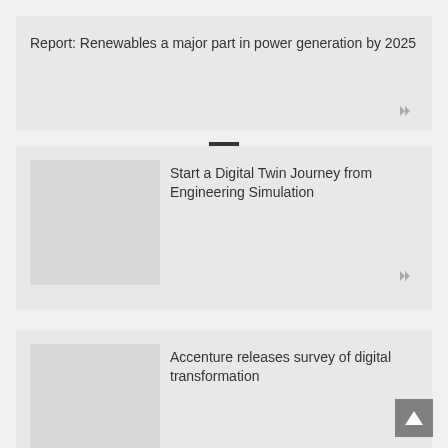Report: Renewables a major part in power generation by 2025
Start a Digital Twin Journey from Engineering Simulation
Accenture releases survey of digital transformation